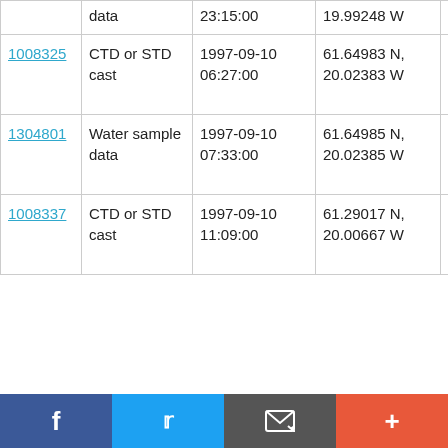|  | data | 23:15:00 | 19.99248 W | D230 |
| 1008325 | CTD or STD cast | 1997-09-10 06:27:00 | 61.64983 N, 20.02383 W | RRS Discovery D230 |
| 1304801 | Water sample data | 1997-09-10 07:33:00 | 61.64985 N, 20.02385 W | RRS Discovery D230 |
| 1008337 | CTD or STD cast | 1997-09-10 11:09:00 | 61.29017 N, 20.00667 W | RRS Discovery D230 |